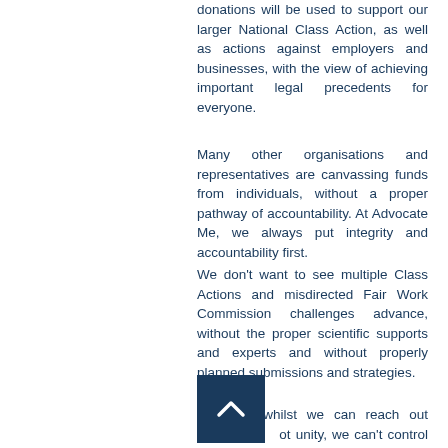donations will be used to support our larger National Class Action, as well as actions against employers and businesses, with the view of achieving important legal precedents for everyone.
Many other organisations and representatives are canvassing funds from individuals, without a proper pathway of accountability. At Advocate Me, we always put integrity and accountability first.
We don't want to see multiple Class Actions and misdirected Fair Work Commission challenges advance, without the proper scientific supports and experts and without properly planned submissions and strategies.
However, whilst we can reach out to promote unity, we can't control what others do in replicating our platform and requesting funds from people directly.